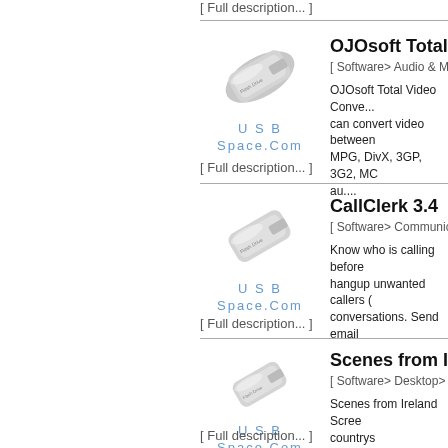[ Full description... ]
[Figure (illustration): USB flash drive graphic with USBSpace.Com label]
OJOsoft Total Vid
[ Software> Audio & Multim
OJOsoft Total Video Conve... can convert video between MPG, DivX, 3GP, 3G2, MO au....
[ Full description... ]
[Figure (illustration): USB flash drive graphic with USBSpace.Com label]
CallClerk 3.4
[ Software> Communicatio
Know who is calling before hangup unwanted callers ( conversations. Send email
[ Full description... ]
[Figure (illustration): USB flash drive graphic with USBSpace.Com label]
Scenes from Irela
[ Software> Desktop> Scre
Scenes from Ireland Scree countrys landscape......
[ Full description... ]